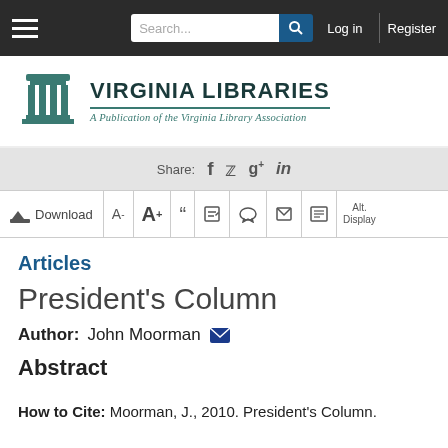Search... Log in Register
[Figure (logo): Virginia Libraries logo with teal columned building icon and text: VIRGINIA LIBRARIES - A Publication of the Virginia Library Association]
Share: f twitter g+ in
Download A- A+ " edit comment print email Alt. Display
Articles
President's Column
Author: John Moorman
Abstract
How to Cite: Moorman, J., 2010. President's Column.